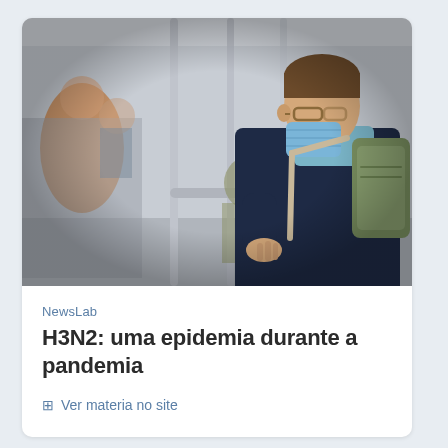[Figure (photo): Man wearing a blue surgical mask and carrying a green backpack, standing in a subway/metro car holding a handle bar. Other passengers are visible seated and standing in the background.]
NewsLab
H3N2: uma epidemia durante a pandemia
Ver materia no site